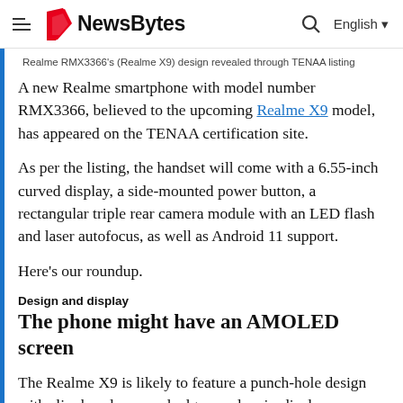NewsBytes — English
Realme RMX3366's (Realme X9) design revealed through TENAA listing
A new Realme smartphone with model number RMX3366, believed to the upcoming Realme X9 model, has appeared on the TENAA certification site.
As per the listing, the handset will come with a 6.55-inch curved display, a side-mounted power button, a rectangular triple rear camera module with an LED flash and laser autofocus, as well as Android 11 support.
Here's our roundup.
Design and display
The phone might have an AMOLED screen
The Realme X9 is likely to feature a punch-hole design with slim bezels, curved edges, and an in-display fingerprint sensor. On the rear, there will be a triple camera setup.